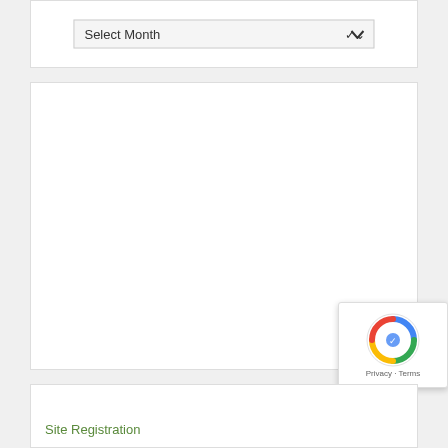[Figure (screenshot): Dropdown selector widget showing 'Select Month' with a chevron arrow on the right, inside a white box with border]
[Figure (screenshot): Large empty white content area box, likely an advertisement or calendar widget placeholder]
Site Registration
[Figure (screenshot): reCAPTCHA badge widget showing the reCAPTCHA logo (blue/green circular arrows) with 'Privacy - Terms' text below]